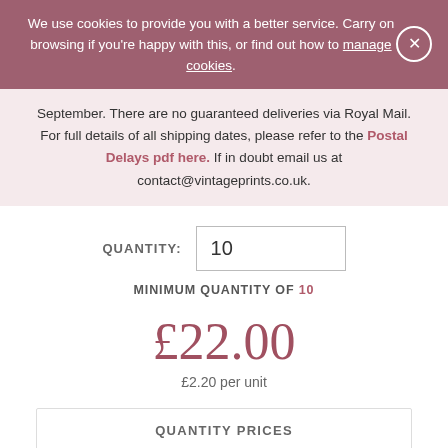We use cookies to provide you with a better service. Carry on browsing if you're happy with this, or find out how to manage cookies.
September. There are no guaranteed deliveries via Royal Mail. For full details of all shipping dates, please refer to the Postal Delays pdf here. If in doubt email us at contact@vintageprints.co.uk.
QUANTITY: 10
MINIMUM QUANTITY OF 10
£22.00
£2.20 per unit
QUANTITY PRICES
10 or more £2.20 each
20 or more £1.90 each